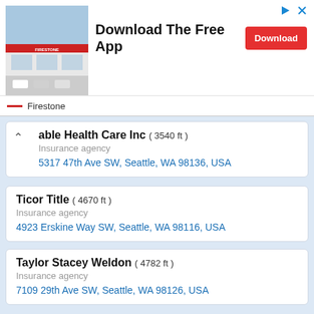[Figure (screenshot): Advertisement banner for a mobile app featuring a Firestone store photo, 'Download The Free App' text, and a red Download button]
Firestone
able Health Care Inc ( 3540 ft ) — Insurance agency — 5317 47th Ave SW, Seattle, WA 98136, USA
Ticor Title ( 4670 ft ) — Insurance agency — 4923 Erskine Way SW, Seattle, WA 98116, USA
Taylor Stacey Weldon ( 4782 ft ) — Insurance agency — 7109 29th Ave SW, Seattle, WA 98126, USA